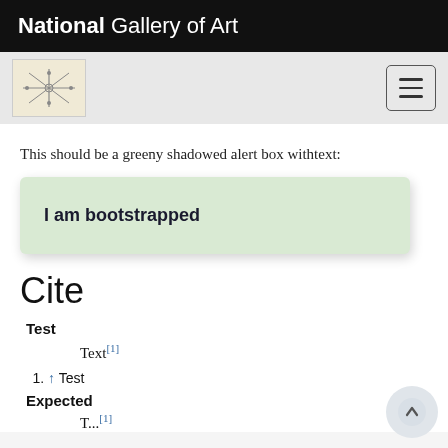National Gallery of Art
[Figure (logo): Small decorative art logo and hamburger menu button on gray sub-header bar]
This should be a greeny shadowed alert box withtext:
I am bootstrapped
Cite
Test
Text[1]
1. ↑ Test
Expected
T...[1]